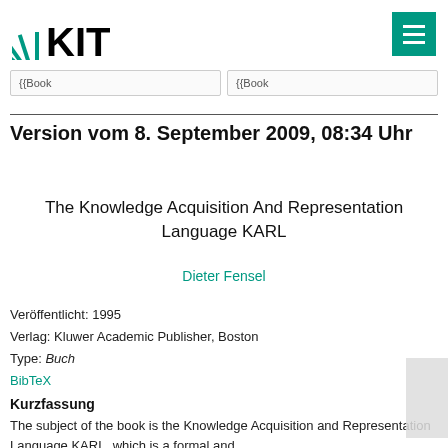KIT logo and navigation menu
{{Book   {{Book
Version vom 8. September 2009, 08:34 Uhr
The Knowledge Acquisition And Representation Language KARL
Dieter Fensel
Veröffentlicht: 1995
Verlag: Kluwer Academic Publisher, Boston
Type: Buch
BibTeX
Kurzfassung
The subject of the book is the Knowledge Acquisition and Representation Language KARL, which is a formal and